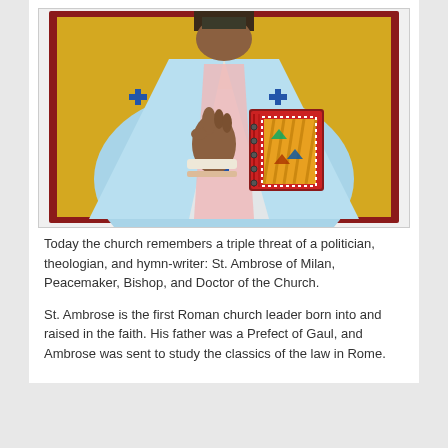[Figure (illustration): Orthodox icon-style illustration of St. Ambrose of Milan, depicted wearing light blue episcopal vestments with blue crosses, holding a decorated book/gospel with colorful geometric designs, and making a blessing gesture with his right hand. Gold background typical of Byzantine iconography. Dark red border frame.]
Today the church remembers a triple threat of a politician, theologian, and hymn-writer: St. Ambrose of Milan, Peacemaker, Bishop, and Doctor of the Church.
St. Ambrose is the first Roman church leader born into and raised in the faith. His father was a Prefect of Gaul, and Ambrose was sent to study the classics of the law in Rome.